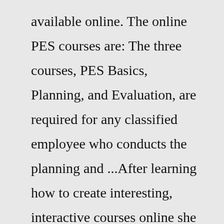available online. The online PES courses are: The three courses, PES Basics, Planning, and Evaluation, are required for any classified employee who conducts the planning and ...After learning how to create interesting, interactive courses online she created RBT online Training. She hopes to help young professionals learn useful techniques and gain insight to the field of ABA, while earning a RBT certificate.